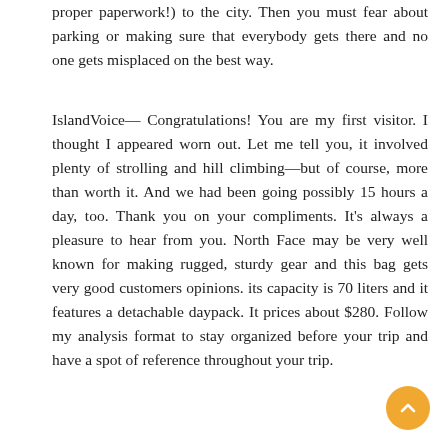proper paperwork!) to the city. Then you must fear about parking or making sure that everybody gets there and no one gets misplaced on the best way.
IslandVoice— Congratulations! You are my first visitor. I thought I appeared worn out. Let me tell you, it involved plenty of strolling and hill climbing—but of course, more than worth it. And we had been going possibly 15 hours a day, too. Thank you on your compliments. It's always a pleasure to hear from you. North Face may be very well known for making rugged, sturdy gear and this bag gets very good customers opinions. its capacity is 70 liters and it features a detachable daypack. It prices about $280. Follow my analysis format to stay organized before your trip and have a spot of reference throughout your trip.